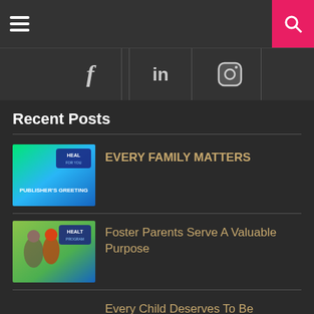[Figure (screenshot): Navigation bar with hamburger menu icon on left and pink search button with magnifying glass icon on right]
[Figure (screenshot): Social media icons bar showing Facebook (f), LinkedIn (in), and Instagram (circle) icons]
Recent Posts
[Figure (illustration): Thumbnail image with green/teal gradient background showing PUBLISHER'S GREETING text and HEAL logo]
EVERY FAMILY MATTERS
[Figure (photo): Thumbnail image showing children running outdoors with green field, HEAL logo overlay]
Foster Parents Serve A Valuable Purpose
Every Child Deserves To Be Safe And Wanted